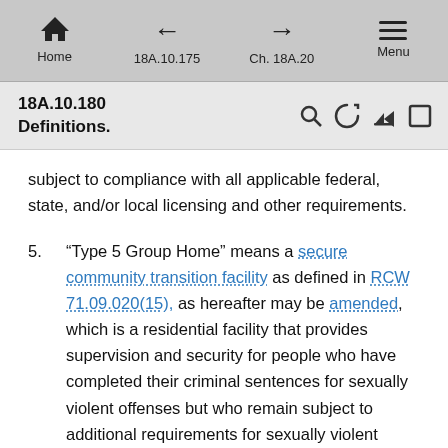Home  18A.10.175  Ch. 18A.20  Menu
18A.10.180
Definitions.
subject to compliance with all applicable federal, state, and/or local licensing and other requirements.
5.  “Type 5 Group Home” means a secure community transition facility as defined in RCW 71.09.020(15), as hereafter may be amended, which is a residential facility that provides supervision and security for people who have completed their criminal sentences for sexually violent offenses but who remain subject to additional requirements for sexually violent predators under Chapter 71.09 RCW, as